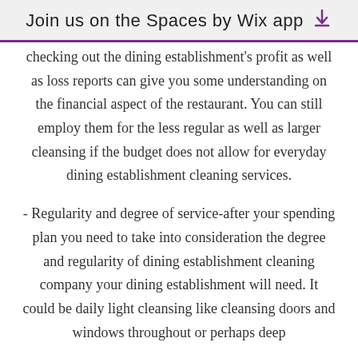Join us on the Spaces by Wix app
checking out the dining establishment's profit as well as loss reports can give you some understanding on the financial aspect of the restaurant. You can still employ them for the less regular as well as larger cleansing if the budget does not allow for everyday dining establishment cleaning services.
- Regularity and degree of service-after your spending plan you need to take into consideration the degree and regularity of dining establishment cleaning company your dining establishment will need. It could be daily light cleansing like cleansing doors and windows throughout or perhaps deep